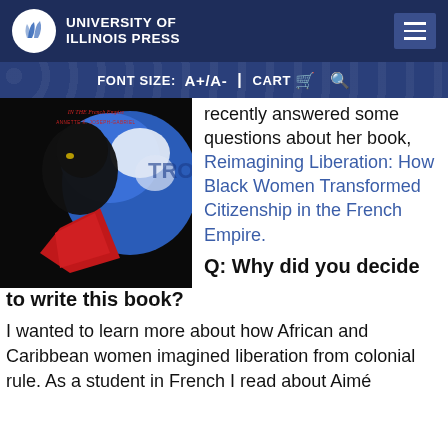UNIVERSITY OF ILLINOIS PRESS
FONT SIZE: A+/A- | CART 🛒 🔍
[Figure (photo): Book cover of 'Reimagining Liberation: How Black Women Transformed Citizenship in the French Empire' by Annette K. Joseph-Gabriel, showing a Black woman looking upward with a red cloth, against a blue and white map background.]
recently answered some questions about her book, Reimagining Liberation: How Black Women Transformed Citizenship in the French Empire.
Q: Why did you decide to write this book?
I wanted to learn more about how African and Caribbean women imagined liberation from colonial rule. As a student in French I read about Aimé Césaire and found...